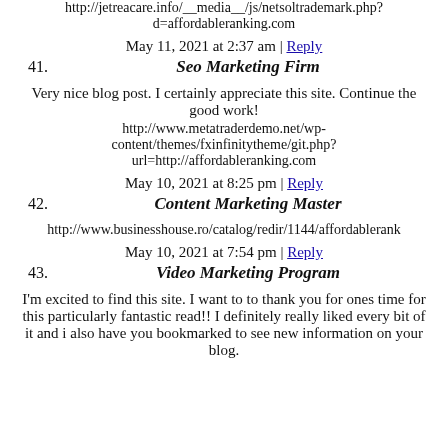http://jetreacare.info/__media__/js/netsoltrademark.php?d=affordableranking.com
May 11, 2021 at 2:37 am | Reply
41. Seo Marketing Firm
Very nice blog post. I certainly appreciate this site. Continue the good work!
http://www.metatraderdemo.net/wp-content/themes/fxinfinitytheme/git.php?url=http://affordableranking.com
May 10, 2021 at 8:25 pm | Reply
42. Content Marketing Master
http://www.businesshouse.ro/catalog/redir/1144/affordablerank
May 10, 2021 at 7:54 pm | Reply
43. Video Marketing Program
I'm excited to find this site. I want to to thank you for ones time for this particularly fantastic read!! I definitely really liked every bit of it and i also have you bookmarked to see new information on your blog.